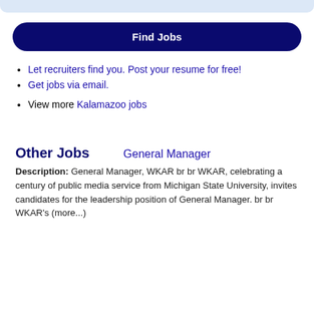[Figure (other): Light blue top bar / rounded decorative header element]
Find Jobs
Let recruiters find you. Post your resume for free!
Get jobs via email.
View more Kalamazoo jobs
Other Jobs
General Manager
Description: General Manager, WKAR br br WKAR, celebrating a century of public media service from Michigan State University, invites candidates for the leadership position of General Manager. br br WKAR's (more...)